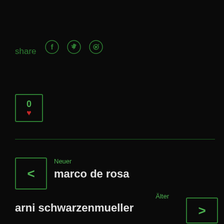share
[Figure (illustration): Social share icons: Facebook, Twitter, Pinterest in green]
[Figure (illustration): Vote box showing 0 with a red heart icon]
Neuer
marco de rosa
Älter
arni schwarzenmueller